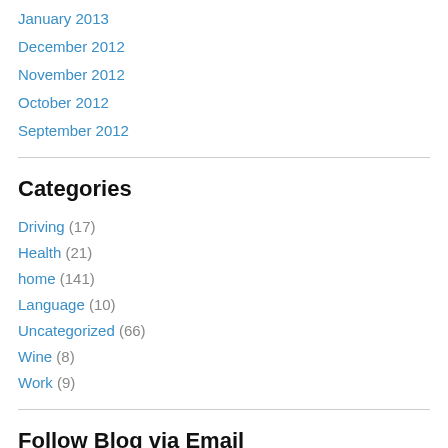January 2013
December 2012
November 2012
October 2012
September 2012
Categories
Driving (17)
Health (21)
home (141)
Language (10)
Uncategorized (66)
Wine (8)
Work (9)
Follow Blog via Email